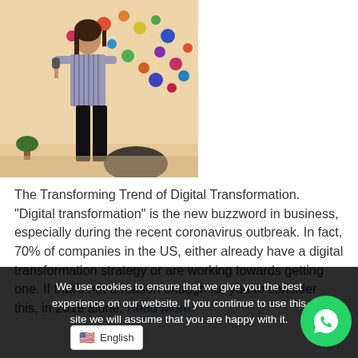[Figure (photo): A woman speaking on stage with a microphone, colorful dot decoration backdrop in the background.]
The Transforming Trend of Digital Transformation. “Digital transformation” is the new buzzword in business, especially during the recent coronavirus outbreak. In fact, 70% of companies in the US, either already have a digital transformation strategy or are working towards getting one. If that’s not a reason enough for you to consider this, in 2019 alone, Read More:
We use cookies to ensure that we give you the best experience on our website. If you continue to use this site we will assume that you are happy with it.
English